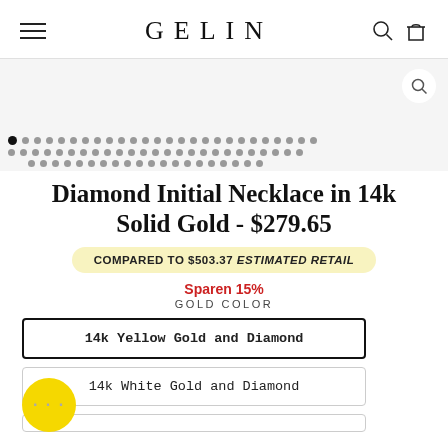GELIN
[Figure (screenshot): Product image area with dot pagination indicators showing multiple product images]
Diamond Initial Necklace in 14k Solid Gold - $279.65
COMPARED TO $503.37 ESTIMATED RETAIL
Sparen 15%
GOLD COLOR
14k Yellow Gold and Diamond
14k White Gold and Diamond